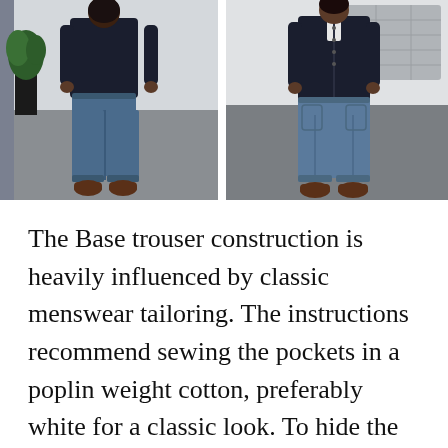[Figure (photo): Two side-by-side photos of a person wearing blue wide-leg trousers and a dark top with brown boots. Left photo shows the back view; right photo shows the front view. Indoor setting with a plant and stone wall art in the background.]
The Base trouser construction is heavily influenced by classic menswear tailoring. The instructions recommend sewing the pockets in a poplin weight cotton, preferably white for a classic look. To hide the raw edges of the inner waistband and the fly, bias tape is recommended. I find